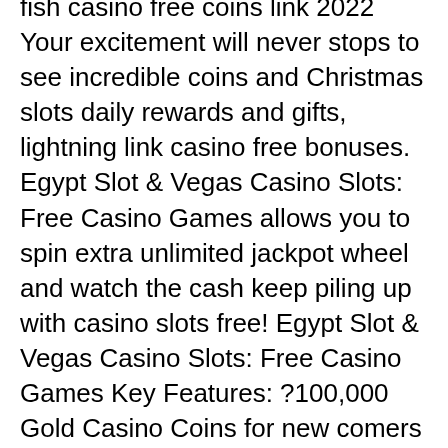fish casino free coins link 2022 Your excitement will never stops to see incredible coins and Christmas slots daily rewards and gifts, lightning link casino free bonuses. Egypt Slot & Vegas Casino Slots: Free Casino Games allows you to spin extra unlimited jackpot wheel and watch the cash keep piling up with casino slots free! Egypt Slot & Vegas Casino Slots: Free Casino Games Key Features: ?100,000 Gold Casino Coins for new comers ?New slots machines to ride online slot fever ?Enjoy your casino night with Christmas slots ?Casino slots free spins and much more to win free coins ?Hourly free slot bonuses and discover gold coins treasure ?Higher winning rate than any other hot Vegas slots and Egypt slots ?Spend Christmas night with Christmas slots and become BILLIONNAIRE ?Enter into the exotic world of Egypt slots and win BIG ?Get